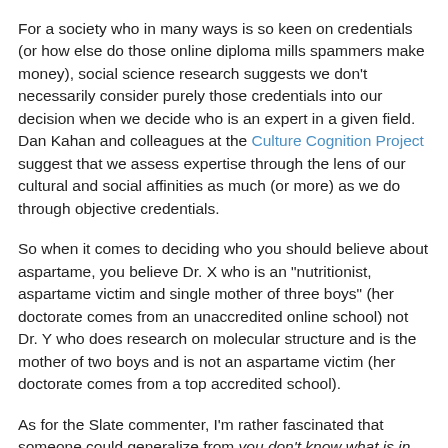For a society who in many ways is so keen on credentials (or how else do those online diploma mills spammers make money), social science research suggests we don't necessarily consider purely those credentials into our decision when we decide who is an expert in a given field. Dan Kahan and colleagues at the Culture Cognition Project suggest that we assess expertise through the lens of our cultural and social affinities as much (or more) as we do through objective credentials.
So when it comes to deciding who you should believe about aspartame, you believe Dr. X who is an "nutritionist, aspartame victim and single mother of three boys" (her doctorate comes from an unaccredited online school) not Dr. Y who does research on molecular structure and is the mother of two boys and is not an aspartame victim (her doctorate comes from a top accredited school).
As for the Slate commenter, I'm rather fascinated that someone could generalize from you don't know what is in toilet bowl cleaner (is the subtext here that I would be above knowing so much about them?) to assume something about...